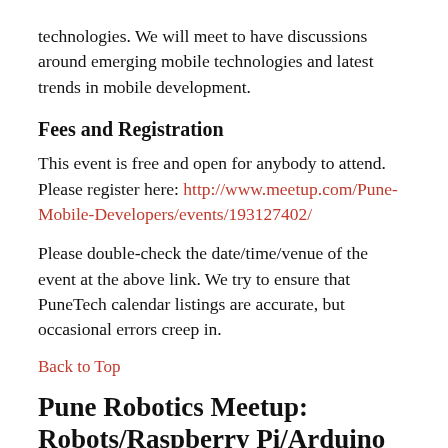technologies. We will meet to have discussions around emerging mobile technologies and latest trends in mobile development.
Fees and Registration
This event is free and open for anybody to attend. Please register here: http://www.meetup.com/Pune-Mobile-Developers/events/193127402/
Please double-check the date/time/venue of the event at the above link. We try to ensure that PuneTech calendar listings are accurate, but occasional errors creep in.
Back to Top
Pune Robotics Meetup: Robots/Raspberry Pi/Arduino Home